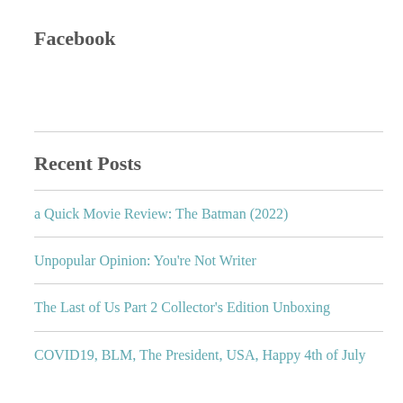Facebook
Recent Posts
a Quick Movie Review: The Batman (2022)
Unpopular Opinion: You're Not Writer
The Last of Us Part 2 Collector's Edition Unboxing
COVID19, BLM, The President, USA, Happy 4th of July